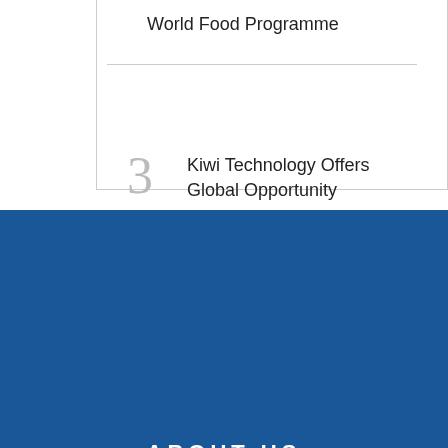World Food Programme
3  Kiwi Technology Offers Global Opportunity
ABOUT US
F&B TECHNOLOGY LAUNCHED TO FACILITATE THE CONNECTION BETWEEN FOOD AND BEVERAGE SUPPLIERS OF TECHNOLOGY, INGREDIENTS AND PACKAGING ACROSS THE FOOD AND BEVERAGE MANUFACTURING SECTORS FOR FMCG AND FOODSERVICE.